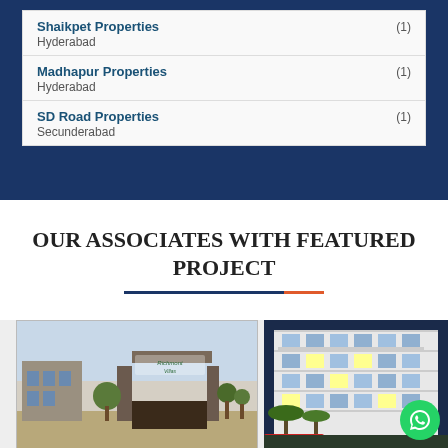Shaikpet Properties (1) Hyderabad
Madhapur Properties (1) Hyderabad
SD Road Properties (1) Secunderabad
OUR ASSOCIATES WITH FEATURED PROJECT
[Figure (photo): Exterior view of a villa/residential property with gate, trees, and landscaping. Text 'Richmont Villas' visible on sign.]
[Figure (photo): Exterior view of a modern multi-storey apartment building at dusk with palm trees.]